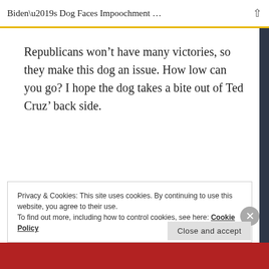Biden’s Dog Faces Impoochment …
Republicans won’t have many victories, so they make this dog an issue. How low can you go? I hope the dog takes a bite out of Ted Cruz’ back side.
★ Like
REPLY
Privacy & Cookies: This site uses cookies. By continuing to use this website, you agree to their use.
To find out more, including how to control cookies, see here: Cookie Policy
Close and accept